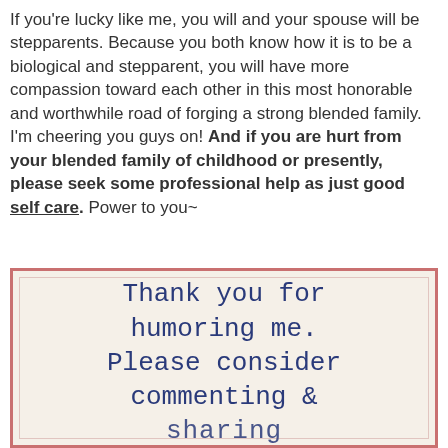If you're lucky like me, you will and your spouse will be stepparents. Because you both know how it is to be a biological and stepparent, you will have more compassion toward each other in this most honorable and worthwhile road of forging a strong blended family. I'm cheering you guys on! And if you are hurt from your blended family of childhood or presently, please seek some professional help as just good self care. Power to you~
[Figure (other): Image with typewriter-style text on aged paper background with pink/red border reading: 'Thank you for humoring me. Please consider commenting & sharing' (partially cut off)]